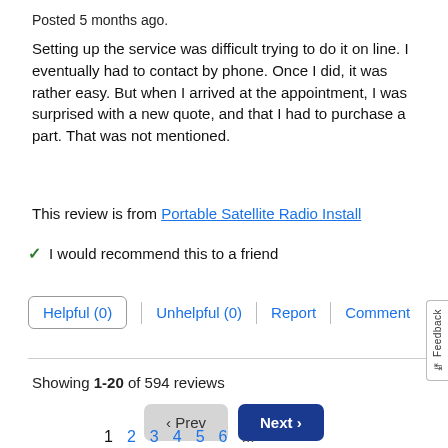Posted 5 months ago.
Setting up the service was difficult trying to do it on line.  I eventually had to contact by phone.   Once I did,  it was rather easy.  But when I arrived at the appointment, I was surprised with a new quote, and that I had to purchase a part.   That was not mentioned.
This review is from Portable Satellite Radio Install
✓  I would recommend this to a friend
Helpful (0)  Unhelpful (0)  Report  Comment
Showing 1-20 of 594 reviews
< Prev  Next >
1  2  3  4  5  6  ...